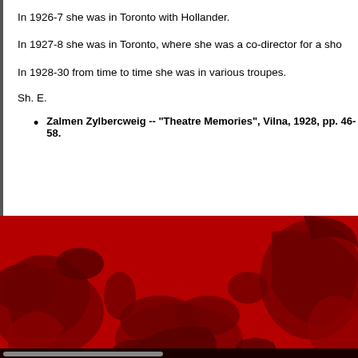In 1926-7 she was in Toronto with Hollander.
In 1927-8 she was in Toronto, where she was a co-director for a sho
In 1928-30 from time to time she was in various troupes.
Sh. E.
Zalmen Zylbercweig -- "Theatre Memories", Vilna, 1928, pp. 46-58.
[Figure (illustration): Decorative red and dark red floral/scroll pattern background image filling the lower portion of the page.]